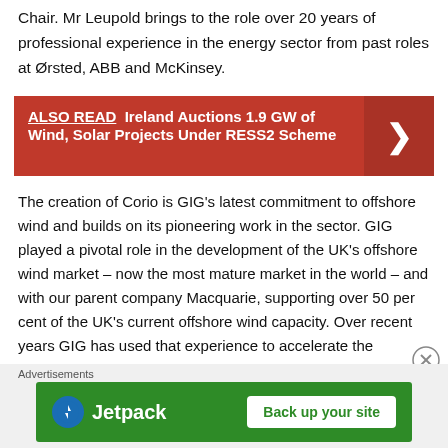Chair. Mr Leupold brings to the role over 20 years of professional experience in the energy sector from past roles at Ørsted, ABB and McKinsey.
ALSO READ  Ireland Auctions 1.9 GW of Wind, Solar Projects Under RESS2 Scheme
The creation of Corio is GIG's latest commitment to offshore wind and builds on its pioneering work in the sector. GIG played a pivotal role in the development of the UK's offshore wind market – now the most mature market in the world – and with our parent company Macquarie, supporting over 50 per cent of the UK's current offshore wind capacity. Over recent years GIG has used that experience to accelerate the
Advertisements
[Figure (screenshot): Jetpack advertisement banner with green background showing Jetpack logo and 'Back up your site' button]